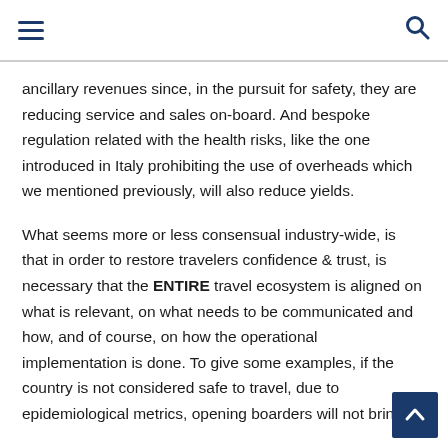ancillary revenues since, in the pursuit for safety, they are reducing service and sales on-board. And bespoke regulation related with the health risks, like the one introduced in Italy prohibiting the use of overheads which we mentioned previously, will also reduce yields.
What seems more or less consensual industry-wide, is that in order to restore travelers confidence & trust, is necessary that the ENTIRE travel ecosystem is aligned on what is relevant, on what needs to be communicated and how, and of course, on how the operational implementation is done. To give some examples, if the country is not considered safe to travel, due to epidemiological metrics, opening boarders will not bring